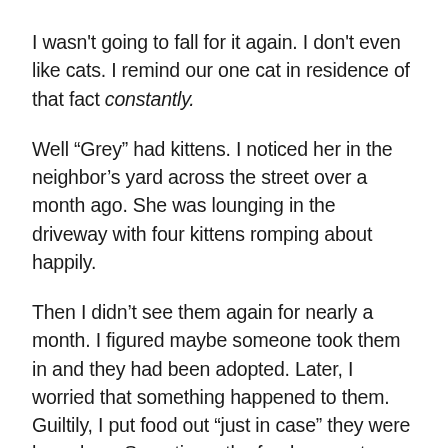I wasn't going to fall for it again. I don't even like cats. I remind our one cat in residence of that fact constantly.
Well “Grey” had kittens. I noticed her in the neighbor’s yard across the street over a month ago. She was lounging in the driveway with four kittens romping about happily.
Then I didn’t see them again for nearly a month. I figured maybe someone took them in and they had been adopted. Later, I worried that something happened to them. Guiltily, I put food out “just in case” they were homeless. Sometimes the food was eaten, other times it remained. I wasn’t quite sure what was eating the cat chow I’d put out but I finally caught her in the act of eating. But there were no kittens in sight.